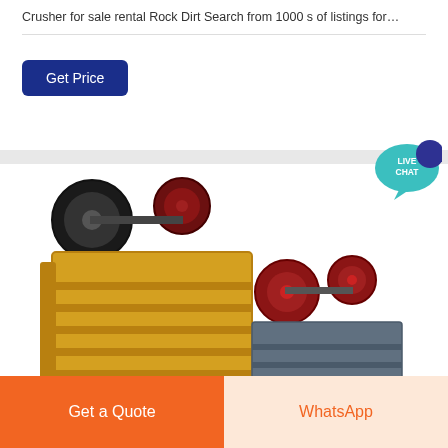Crusher for sale rental Rock Dirt Search from 1000 s of listings for…
Get Price
[Figure (screenshot): Live chat speech bubble icon with teal background and dark blue bubble, text reads LIVE CHAT]
[Figure (photo): Two jaw crushers side by side: a large yellow jaw crusher on the left and a smaller gray jaw crusher on the right]
2021 hot sale universal jaw crusher
2021 new jaw 2021 hot sale mini stone jaw crusher price from rizhao huiming machinery co ltd with specifications
[Figure (other): Sort/list icon: upward arrow with three horizontal lines]
Get Price
Get a Quote
WhatsApp